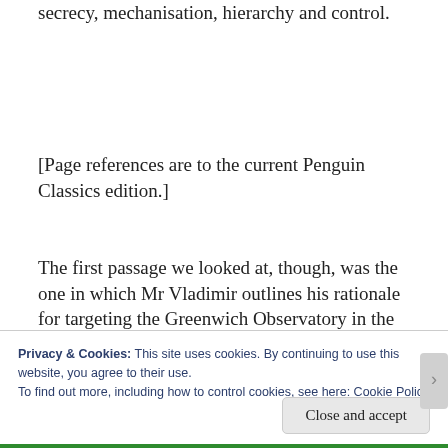secrecy, mechanisation, hierarchy and control.
[Page references are to the current Penguin Classics edition.]
The first passage we looked at, though, was the one in which Mr Vladimir outlines his rationale for targeting the Greenwich Observatory in the faked
Privacy & Cookies: This site uses cookies. By continuing to use this website, you agree to their use.
To find out more, including how to control cookies, see here: Cookie Policy
Close and accept